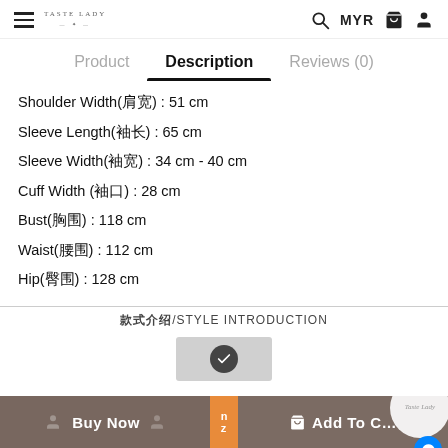TASTE LADY — MYR navigation bar with hamburger, search, cart, and user icons
Product | Description | Reviews (0)
Shoulder Width(肩宽) : 51 cm
Sleeve Length(袖长) : 65 cm
Sleeve Width(袖宽) : 34 cm - 40 cm
Cuff Width (袖口) : 28 cm
Bust(胸围) : 118 cm
Waist(腰围) : 112 cm
Hip(臀围) : 128 cm
款式介绍/STYLE INTRODUCTION
Buy Now | Add To Cart